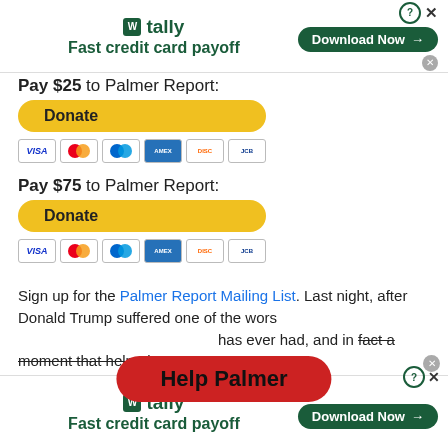[Figure (screenshot): Top advertisement banner: Tally app - Fast credit card payoff, with Download Now button]
Pay $25 to Palmer Report:
[Figure (other): Yellow Donate button with PayPal and credit card icons (Visa, Mastercard, Amex, Discover, JCB)]
Pay $75 to Palmer Report:
[Figure (other): Yellow Donate button with PayPal and credit card icons (Visa, Mastercard, Amex, Discover, JCB)]
Sign up for the Palmer Report Mailing List. Last night, after Donald Trump suffered one of the worst ... has ever had, and in fact a moment that helped
[Figure (other): Red pill-shaped overlay button labeled Help Palmer]
[Figure (screenshot): Bottom advertisement banner: Tally app - Fast credit card payoff, with Download Now button and close controls]